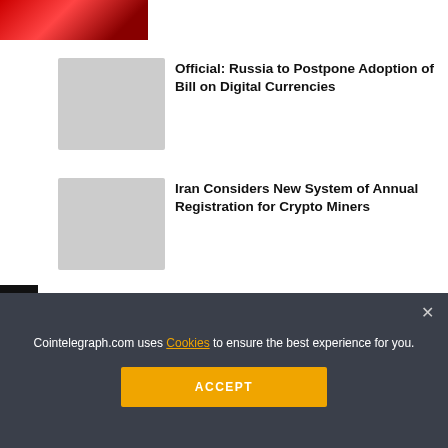[Figure (photo): Partially visible red-toned article thumbnail image at top]
[Figure (photo): Gray placeholder thumbnail for Russia digital currencies article]
Official: Russia to Postpone Adoption of Bill on Digital Currencies
[Figure (photo): Gray placeholder thumbnail for Iran crypto miners article]
Iran Considers New System of Annual Registration for Crypto Miners
[Figure (infographic): Social share buttons: Facebook, Twitter, Telegram, Reddit, LinkedIn, WhatsApp, Copy, Scroll-up]
Cointelegraph.com uses Cookies to ensure the best experience for you.
ACCEPT